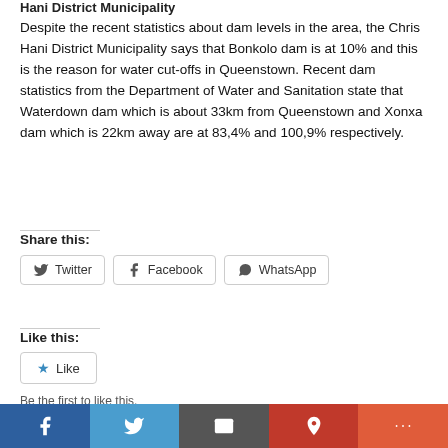Hani District Municipality
Despite the recent statistics about dam levels in the area, the Chris Hani District Municipality says that Bonkolo dam is at 10% and this is the reason for water cut-offs in Queenstown. Recent dam statistics from the Department of Water and Sanitation state that Waterdown dam which is about 33km from Queenstown and Xonxa dam which is 22km away are at 83,4% and 100,9% respectively.
Share this:
Twitter | Facebook | WhatsApp
Like this:
Like
Be the first to like this.